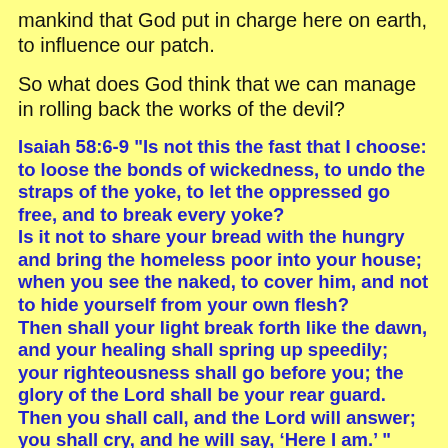mankind that God put in charge here on earth, to influence our patch.
So what does God think that we can manage in rolling back the works of the devil?
Isaiah 58:6-9 "Is not this the fast that I choose: to loose the bonds of wickedness, to undo the straps of the yoke, to let the oppressed go free, and to break every yoke? Is it not to share your bread with the hungry and bring the homeless poor into your house; when you see the naked, to cover him, and not to hide yourself from your own flesh? Then shall your light break forth like the dawn, and your healing shall spring up speedily; your righteousness shall go before you; the glory of the Lord shall be your rear guard. Then you shall call, and the Lord will answer; you shall cry, and he will say, ‘Here I am.’ "